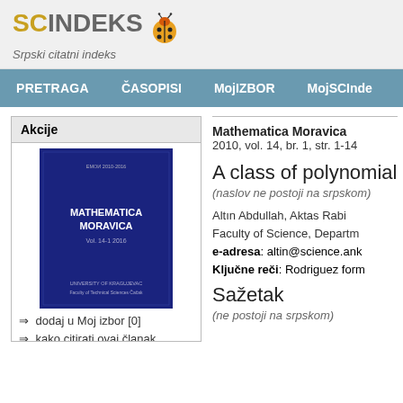[Figure (logo): SCIndeks - Srpski citatni indeks logo with ladybug icon]
PRETRAGA  ČASOPISI  MojIZBOR  MojSCInde
Akcije
[Figure (photo): Cover of Mathematica Moravica journal, dark blue cover]
dodaj u Moj izbor [0]
kako citirati ovaj članak
podeli ovaj članak
[Figure (infographic): Social sharing buttons: Facebook, Twitter, Email, Plus]
Direktan link
https://scindeks.ceon.rs/artic
Mathematica Moravica
2010, vol. 14, br. 1, str. 1-14
A class of polynomial
(naslov ne postoji na srpskom)
Altın Abdullah, Aktas Rabi
Faculty of Science, Departm
e-adresa: altin@science.ank
Ključne reči: Rodriguez form
Sažetak
(ne postoji na srpskom)